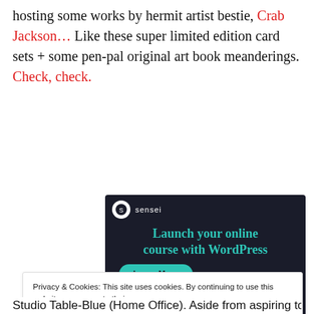hosting some works by hermit artist bestie, Crab Jackson… Like these super limited edition card sets + some pen-pal original art book meanderings. Check, check.
[Figure (screenshot): Sensei advertisement banner with dark background: logo, headline 'Launch your online course with WordPress', and a 'Learn More' button.]
Privacy & Cookies: This site uses cookies. By continuing to use this website, you agree to their use.
To find out more, including how to control cookies, see here: Cookie Policy
Studio Table-Blue (Home Office). Aside from aspiring to